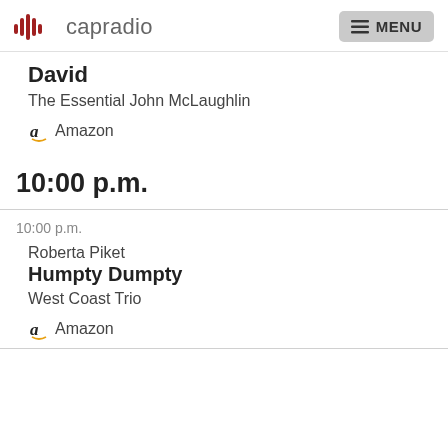capradio  MENU
David
The Essential John McLaughlin
Amazon
10:00 p.m.
10:00 p.m.
Roberta Piket
Humpty Dumpty
West Coast Trio
Amazon